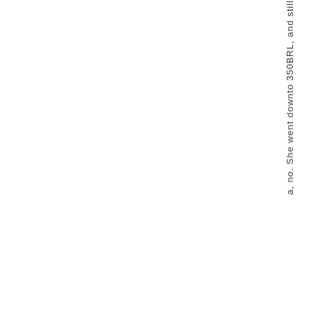a, no. She went down to 350BRL, and still